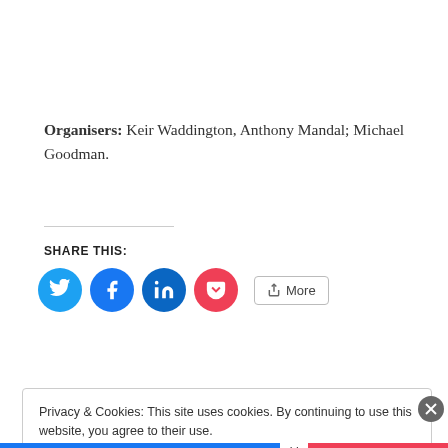Organisers: Keir Waddington, Anthony Mandal; Michael Goodman.
SHARE THIS:
[Figure (other): Social share icons: Twitter (blue circle), Facebook (blue circle), LinkedIn (dark blue circle), Pocket (red circle), and a More button with share icon]
Privacy & Cookies: This site uses cookies. By continuing to use this website, you agree to their use. To find out more, including how to control cookies, see here: Cookie Policy
Close and accept